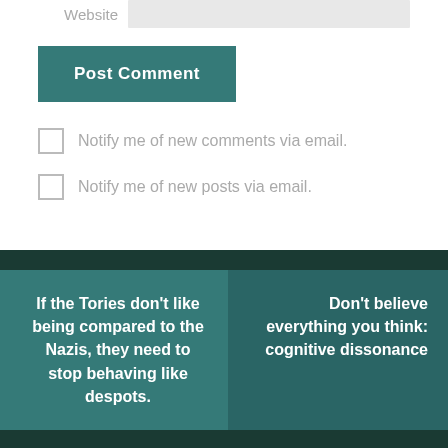Website
Post Comment
Notify me of new comments via email.
Notify me of new posts via email.
If the Tories don't like being compared to the Nazis, they need to stop behaving like despots.
Don't believe everything you think: cognitive dissonance
Blog at WordPress.com.